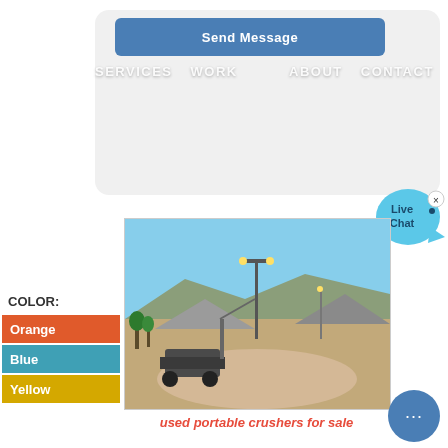[Figure (screenshot): Send Message button on a light gray rounded card UI element]
SERVICES   WORK   ABOUT   CONTACT
[Figure (photo): Aerial/ground view of a mining or quarry site with heavy equipment, conveyors, and stockpiles of crushed rock under a clear sky. A tall lighting pole is visible in the center.]
used portable crushers for sale
COLOR:
Orange
Blue
Yellow
[Figure (illustration): Live Chat speech bubble widget in cyan/blue with an x close button]
[Figure (illustration): Blue circular chat button with ellipsis dots]